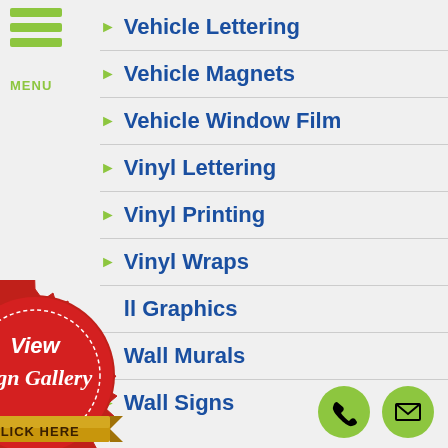[Figure (logo): Hamburger menu icon with three green bars and MENU label]
Vehicle Lettering
Vehicle Magnets
Vehicle Window Film
Vinyl Lettering
Vinyl Printing
Vinyl Wraps
Wall Graphics
Wall Murals
Wall Signs
[Figure (illustration): Red badge/seal with text 'View Sign Gallery' and a gold ribbon banner saying 'CLICK HERE']